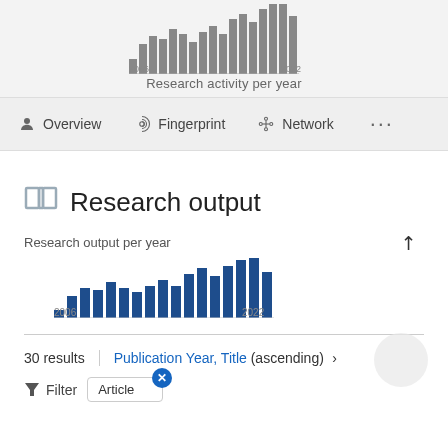[Figure (bar-chart): Research activity per year]
Research activity per year
Overview  Fingerprint  Network  ...
Research output
Research output per year
[Figure (bar-chart): Research output per year]
30 results | Publication Year, Title (ascending) >
Filter  Article